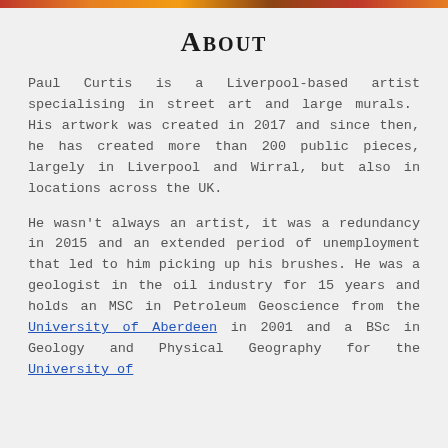[Figure (photo): Colorful image strip at top of page showing artwork/murals]
About
Paul Curtis is a Liverpool-based artist specialising in street art and large murals. His artwork was created in 2017 and since then, he has created more than 200 public pieces, largely in Liverpool and Wirral, but also in locations across the UK.
He wasn't always an artist, it was a redundancy in 2015 and an extended period of unemployment that led to him picking up his brushes. He was a geologist in the oil industry for 15 years and holds an MSC in Petroleum Geoscience from the University of Aberdeen in 2001 and a BSc in Geology and Physical Geography for the University of